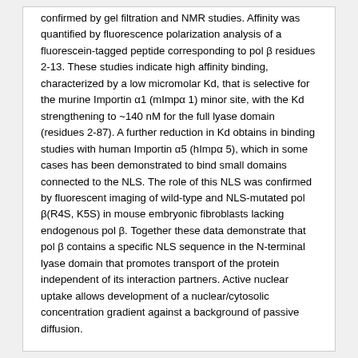confirmed by gel filtration and NMR studies. Affinity was quantified by fluorescence polarization analysis of a fluorescein-tagged peptide corresponding to pol β residues 2-13. These studies indicate high affinity binding, characterized by a low micromolar Kd, that is selective for the murine Importin α1 (mImpα 1) minor site, with the Kd strengthening to ~140 nM for the full lyase domain (residues 2-87). A further reduction in Kd obtains in binding studies with human Importin α5 (hImpα 5), which in some cases has been demonstrated to bind small domains connected to the NLS. The role of this NLS was confirmed by fluorescent imaging of wild-type and NLS-mutated pol β(R4S, K5S) in mouse embryonic fibroblasts lacking endogenous pol β. Together these data demonstrate that pol β contains a specific NLS sequence in the N-terminal lyase domain that promotes transport of the protein independent of its interaction partners. Active nuclear uptake allows development of a nuclear/cytosolic concentration gradient against a background of passive diffusion.